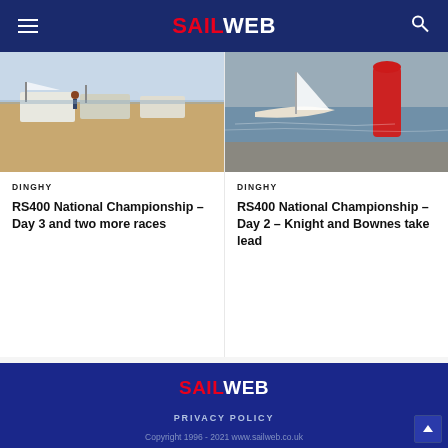SAILWEB
[Figure (photo): Sailing dinghies on a sandy beach being prepared for racing, people visible in background]
DINGHY
RS400 National Championship – Day 3 and two more races
[Figure (photo): RS400 sailing dinghy racing close to a red buoy on water with pebbly shoreline in background]
DINGHY
RS400 National Championship – Day 2 – Knight and Bownes take lead
SAILWEB
PRIVACY POLICY
Copyright 1996 - 2021 www.sailweb.co.uk